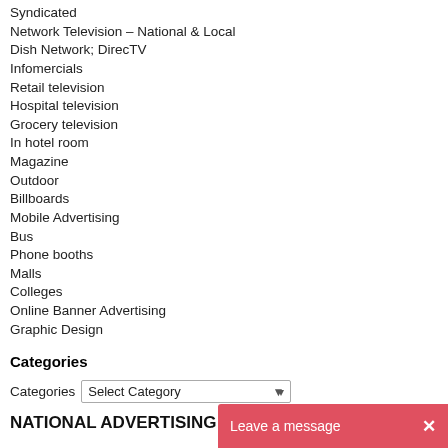Syndicated
Network Television – National & Local
Dish Network; DirecTV
Infomercials
Retail television
Hospital television
Grocery television
In hotel room
Magazine
Outdoor
Billboards
Mobile Advertising
Bus
Phone booths
Malls
Colleges
Online Banner Advertising
Graphic Design
Categories
Categories  Select Category
NATIONAL ADVERTISING A…